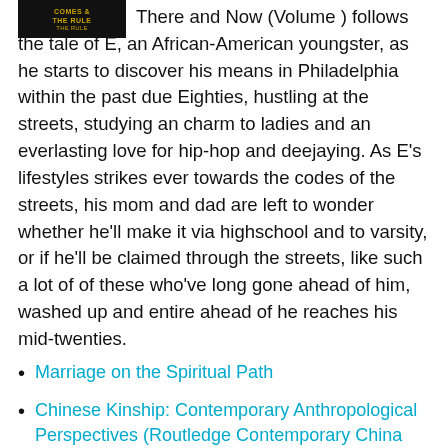[Figure (illustration): Small book cover image with dark background and gold/yellow text reading 'COMES & THE RULE']
There and Now (Volume ) follows the tale of E, an African-American youngster, as he starts to discover his means in Philadelphia within the past due Eighties, hustling at the streets, studying an charm to ladies and an everlasting love for hip-hop and deejaying. As E's lifestyles strikes ever towards the codes of the streets, his mom and dad are left to wonder whether he'll make it via highschool and to varsity, or if he'll be claimed through the streets, like such a lot of of these who've long gone ahead of him, washed up and entire ahead of he reaches his mid-twenties.
Marriage on the Spiritual Path
Chinese Kinship: Contemporary Anthropological Perspectives (Routledge Contemporary China